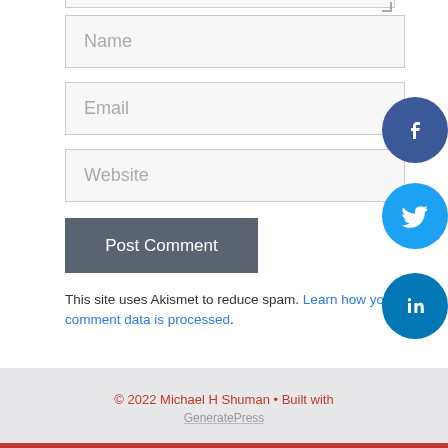Name
Email
Website
Post Comment
This site uses Akismet to reduce spam. Learn how your comment data is processed.
[Figure (illustration): Facebook social media round icon button in blue]
[Figure (illustration): Twitter social media round icon button in light blue]
[Figure (illustration): LinkedIn social media round icon button in blue]
© 2022 Michael H Shuman • Built with GeneratePress